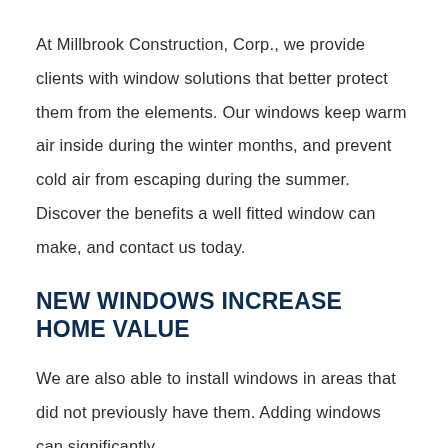At Millbrook Construction, Corp., we provide clients with window solutions that better protect them from the elements. Our windows keep warm air inside during the winter months, and prevent cold air from escaping during the summer. Discover the benefits a well fitted window can make, and contact us today.
NEW WINDOWS INCREASE HOME VALUE
We are also able to install windows in areas that did not previously have them. Adding windows can significantly